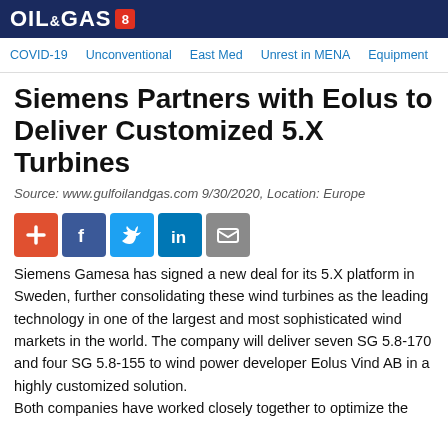OIL & GAS [8]
COVID-19   Unconventional   East Med   Unrest in MENA   Equipment
Siemens Partners with Eolus to Deliver Customized 5.X Turbines
Source: www.gulfoilandgas.com 9/30/2020, Location: Europe
[Figure (infographic): Social sharing icons: plus (red), Facebook (blue), Twitter (light blue), LinkedIn (dark blue), Email (grey)]
Siemens Gamesa has signed a new deal for its 5.X platform in Sweden, further consolidating these wind turbines as the leading technology in one of the largest and most sophisticated wind markets in the world. The company will deliver seven SG 5.8-170 and four SG 5.8-155 to wind power developer Eolus Vind AB in a highly customized solution.
Both companies have worked closely together to optimize the